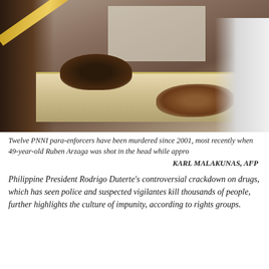[Figure (photo): A person reaches over an open casket, touching the hand of the deceased. The scene shows a funeral setting with a gold-framed casket and mourners.]
Twelve PNNI para-enforcers have been murdered since 2001, most recently when 49-year-old Ruben Arzaga was shot in the head while appro...
KARL MALAKUNAS, AFP
Philippine President Rodrigo Duterte's controversial crackdown on drugs, which has seen police and suspected vigilantes kill thousands of people, further highlights the culture of impunity, according to rights groups.